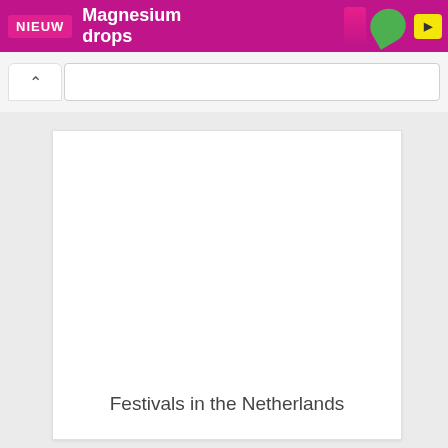[Figure (screenshot): Pink/magenta advertisement banner showing 'NIEUW' label and 'Magnesium drops' text with product images and yellow button]
[Figure (screenshot): Browser navigation chrome with back chevron button and address bar]
Festivals in the Netherlands